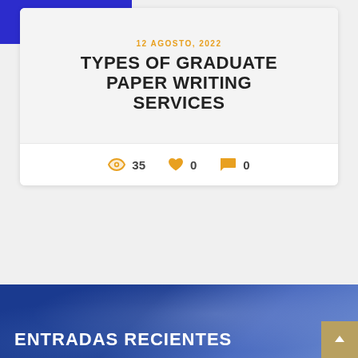[Figure (logo): Blue header block with hamburger/menu icon in white]
12 AGOSTO, 2022
TYPES OF GRADUATE PAPER WRITING SERVICES
👁 35   ♥ 0   💬 0
[Figure (photo): Blue atmospheric/cloudy background section at bottom]
ENTRADAS RECIENTES